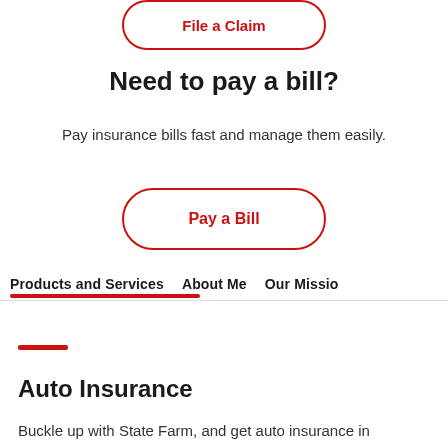[Figure (screenshot): Button with red border and red text reading 'File a Claim']
Need to pay a bill?
Pay insurance bills fast and manage them easily.
[Figure (screenshot): Button with red border and red text reading 'Pay a Bill']
Products and Services   About Me   Our Missio
Auto Insurance
Buckle up with State Farm, and get auto insurance in